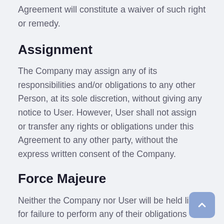Agreement will constitute a waiver of such right or remedy.
Assignment
The Company may assign any of its responsibilities and/or obligations to any other Person, at its sole discretion, without giving any notice to User. However, User shall not assign or transfer any rights or obligations under this Agreement to any other party, without the express written consent of the Company.
Force Majeure
Neither the Company nor User will be held liable for failure to perform any of their obligations towards the other if such failure is as a result of Acts of God (including fire, flood, earthquake, storm, hurricane or